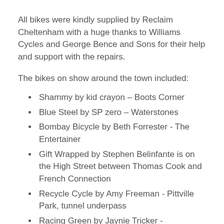All bikes were kindly supplied by Reclaim Cheltenham with a huge thanks to Williams Cycles and George Bence and Sons for their help and support with the repairs.
The bikes on show around the town included:
Shammy by kid crayon – Boots Corner
Blue Steel by SP zero – Waterstones
Bombay Bicycle by Beth Forrester - The Entertainer
Gift Wrapped by Stephen Belinfante is on the High Street between Thomas Cook and French Connection
Recycle Cycle by Amy Freeman - Pittville Park, tunnel underpass
Racing Green by Jaynie Tricker - Promenade long gardens
Life Cycle by Susan Early – Neals Yard
Golden Age of (Re) Cycling by Andy 'Ding'